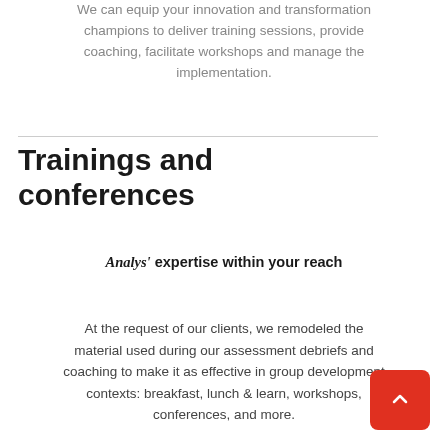We can equip your innovation and transformation champions to deliver training sessions, provide coaching, facilitate workshops and manage the implementation.
Trainings and conferences
Analys' expertise within your reach
At the request of our clients, we remodeled the material used during our assessment debriefs and coaching to make it as effective in group development contexts: breakfast, lunch & learn, workshops, conferences, and more.